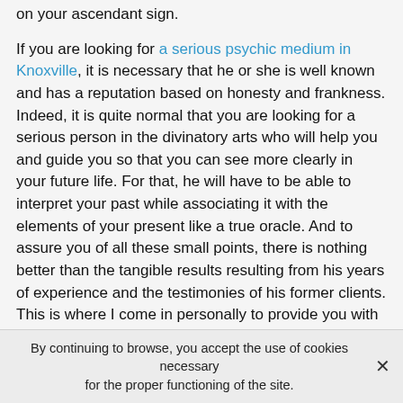on your ascendant sign.
If you are looking for a serious psychic medium in Knoxville, it is necessary that he or she is well known and has a reputation based on honesty and frankness. Indeed, it is quite normal that you are looking for a serious person in the divinatory arts who will help you and guide you so that you can see more clearly in your future life. For that, he will have to be able to interpret your past while associating it with the elements of your present like a true oracle. And to assure you of all these small points, there is nothing better than the tangible results resulting from his years of experience and the testimonies of his former clients. This is where I come in personally to provide you with the answers and valuable help you will need throughout the tumultuous course of your life path. With me, you will benefit from an irreproachable quality of
By continuing to browse, you accept the use of cookies necessary for the proper functioning of the site.